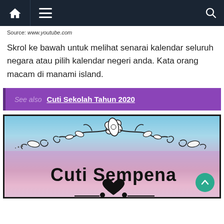[Figure (screenshot): Dark navigation bar with home icon, hamburger menu icon, and search icon on the right]
Source: www.youtube.com
Skrol ke bawah untuk melihat senarai kalendar seluruh negara atau pilih kalendar negeri anda. Kata orang macam di manami island.
See also  Cuti Sekolah Tahun 2020
[Figure (photo): Decorative image with floral ornament design on blue background at top, gradient purple-pink background below with text 'Cuti Sempena' in large black font, and a black heart at bottom. A teal scroll-to-top button is visible at bottom right.]